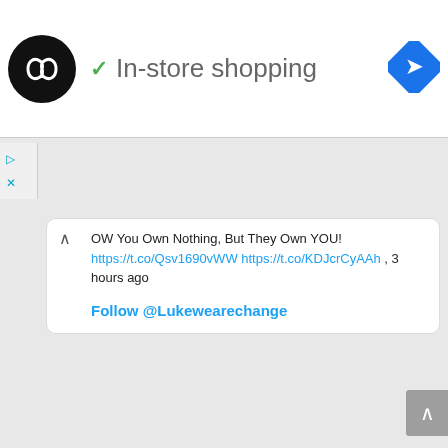[Figure (logo): Black circular logo with double infinity/arrow symbol inside, representing wearechange]
✓ In-store shopping
[Figure (logo): Blue diamond-shaped navigation/directions icon]
OW You Own Nothing, But They Own YOU! https://t.co/Qsv1690vWW https://t.co/KDJcrCyAAh, 3 hours ago
Follow @Lukewearechange
[Figure (other): QR code image for EOS cryptocurrency address wearechangee]
EOS:
wearechangee